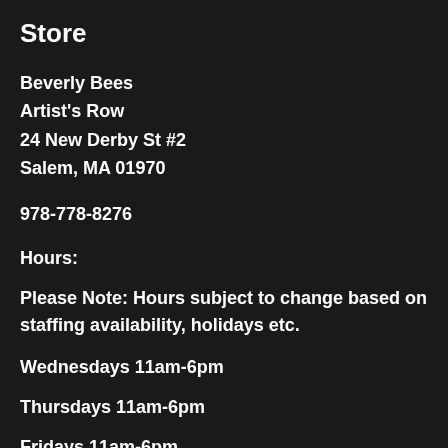Store
Beverly Bees
Artist's Row
24 New Derby St #2
Salem, MA 01970
978-778-8276
Hours:
Please Note: Hours subject to change based on staffing availability, holidays etc.
Wednesdays 11am-6pm
Thursdays 11am-6pm
Fridays 11am-6pm